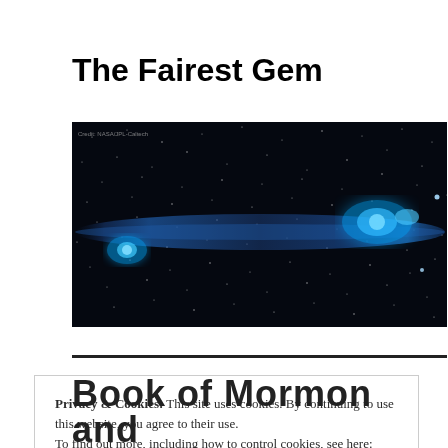The Fairest Gem
[Figure (photo): Wide horizontal space/astronomy photograph showing a bright blue streak or comet trail against a star-filled black sky, with two brighter glowing blue objects at left and right ends. Small watermark text reads 'Credit: NASA/JPL-Caltech' in the upper left.]
Privacy & Cookies: This site uses cookies. By continuing to use this website, you agree to their use.
To find out more, including how to control cookies, see here: Cookie Policy
Close and accept
Book of Mormon and